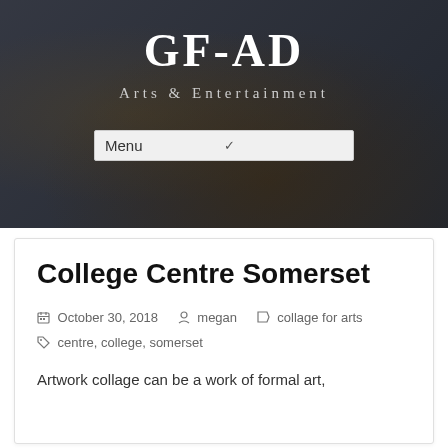GF-AD
Arts & Entertainment
Menu
College Centre Somerset
October 30, 2018   megan   collage for arts
centre, college, somerset
Artwork collage can be a work of formal art,